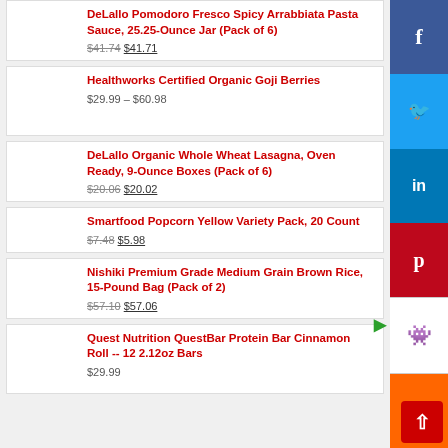DeLallo Pomodoro Fresco Spicy Arrabbiata Pasta Sauce, 25.25-Ounce Jar (Pack of 6) $41.74 $41.71
Healthworks Certified Organic Goji Berries $29.99 – $60.98
DeLallo Organic Whole Wheat Lasagna, Oven Ready, 9-Ounce Boxes (Pack of 6) $20.06 $20.02
Smartfood Popcorn Yellow Variety Pack, 20 Count $7.48 $5.98
Nishiki Premium Grade Medium Grain Brown Rice, 15-Pound Bag (Pack of 2) $57.10 $57.06
Quest Nutrition QuestBar Protein Bar Cinnamon Roll -- 12 2.12oz Bars $29.99